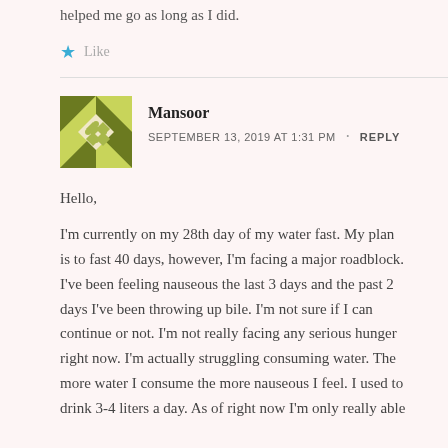helped me go as long as I did.
Like
[Figure (illustration): User avatar for Mansoor — geometric quilted pattern in olive/yellow-green and white]
Mansoor
SEPTEMBER 13, 2019 AT 1:31 PM · REPLY
Hello,
I'm currently on my 28th day of my water fast. My plan is to fast 40 days, however, I'm facing a major roadblock. I've been feeling nauseous the last 3 days and the past 2 days I've been throwing up bile. I'm not sure if I can continue or not. I'm not really facing any serious hunger right now. I'm actually struggling consuming water. The more water I consume the more nauseous I feel. I used to drink 3-4 liters a day. As of right now I'm only really able